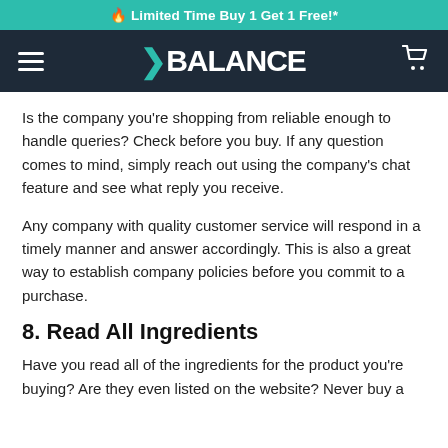🔥 Limited Time Buy 1 Get 1 Free!*
[Figure (logo): Balance brand logo with teal arrow chevron on dark navy navigation bar with hamburger menu and cart icon]
Is the company you're shopping from reliable enough to handle queries? Check before you buy. If any question comes to mind, simply reach out using the company's chat feature and see what reply you receive.
Any company with quality customer service will respond in a timely manner and answer accordingly. This is also a great way to establish company policies before you commit to a purchase.
8. Read All Ingredients
Have you read all of the ingredients for the product you're buying? Are they even listed on the website? Never buy a product without knowing what ingredients it contains.